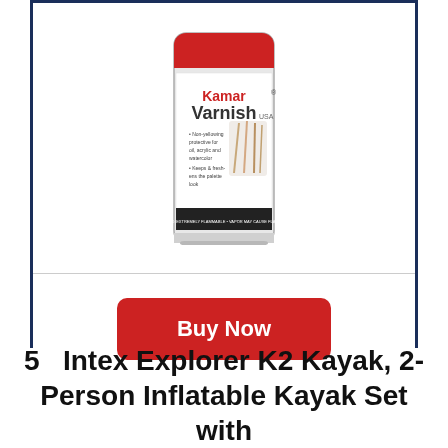[Figure (photo): Kamar Varnish spray can with art brushes, white label with red cap area, Net Wt. 11 oz / 311 g]
Buy Now
5   Intex Explorer K2 Kayak, 2-Person Inflatable Kayak Set with